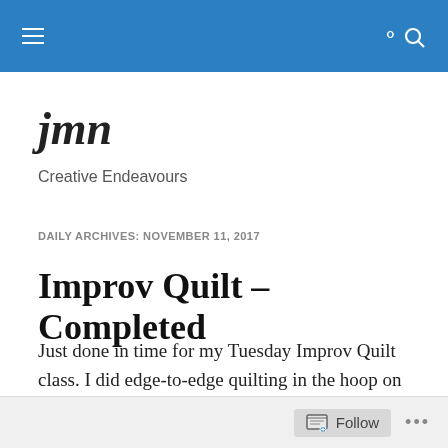jmn navigation bar
jmn
Creative Endeavours
DAILY ARCHIVES: NOVEMBER 11, 2017
Improv Quilt – Completed
Just done in time for my Tuesday Improv Quilt class. I did edge-to-edge quilting in the hoop on the central panel, then quilted the border separately. The inner section I treated as if it were a 6 x 8 pieced panel (using an 8″ x 8″
Follow ...